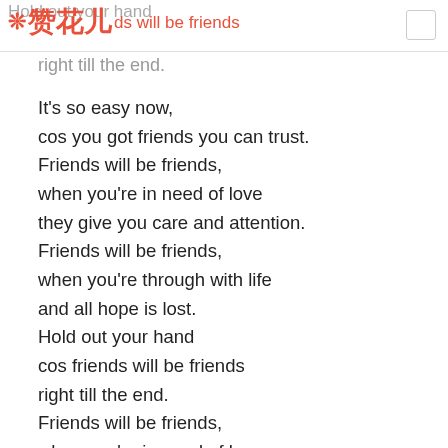Hold out your hand / 赞花儿 / cos friends will be friends / right till the end.
It's so easy now,
cos you got friends you can trust.
Friends will be friends,
when you're in need of love
they give you care and attention.
Friends will be friends,
when you're through with life
and all hope is lost.
Hold out your hand
cos friends will be friends
right till the end.
Friends will be friends,
when you're in need of love
they give you care and attention.
Friends will be friends,
when you're through with life